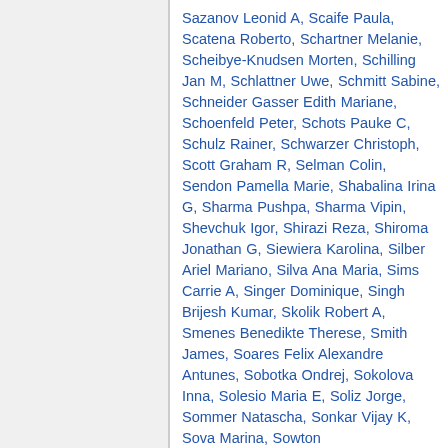Sazanov Leonid A, Scaife Paula, Scatena Roberto, Schartner Melanie, Scheibye-Knudsen Morten, Schilling Jan M, Schlattner Uwe, Schmitt Sabine, Schneider Gasser Edith Mariane, Schoenfeld Peter, Schots Pauke C, Schulz Rainer, Schwarzer Christoph, Scott Graham R, Selman Colin, Sendon Pamella Marie, Shabalina Irina G, Sharma Pushpa, Sharma Vipin, Shevchuk Igor, Shirazi Reza, Shiroma Jonathan G, Siewiera Karolina, Silber Ariel Mariano, Silva Ana Maria, Sims Carrie A, Singer Dominique, Singh Brijesh Kumar, Skolik Robert A, Smenes Benedikte Therese, Smith James, Soares Felix Alexandre Antunes, Sobotka Ondrej, Sokolova Inna, Solesio Maria E, Soliz Jorge, Sommer Natascha, Sonkar Vijay K, Sova Marina, Sowton